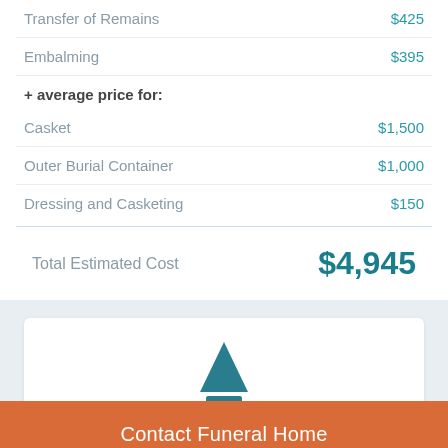| Item | Price |
| --- | --- |
| Transfer of Remains | $425 |
| Embalming | $395 |
| + average price for: |  |
| Casket | $1,500 |
| Outer Burial Container | $1,000 |
| Dressing and Casketing | $150 |
Total Estimated Cost   $4,945
[Figure (illustration): Funeral home logo icon — a dark teal triangle (tree/monument shape) above a horizontal bar, inside a white card on a light blue-grey background]
Contact Funeral Home